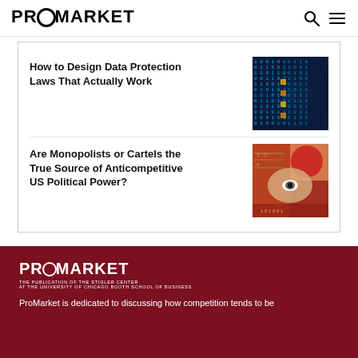PROMARKET
How to Design Data Protection Laws That Actually Work
[Figure (photo): Close-up of digital binary code (blue illuminated screen with 0s and 1s and some orange highlights)]
Are Monopolists or Cartels the True Source of Anticompetitive US Political Power?
[Figure (photo): Stylized collage of a face visible between currency bills in red and beige tones]
PROMARKET — THE PUBLICATION OF THE STIGLER CENTER AT THE UNIVERSITY OF CHICAGO BOOTH SCHOOL OF BUSINESS. ProMarket is dedicated to discussing how competition tends to be